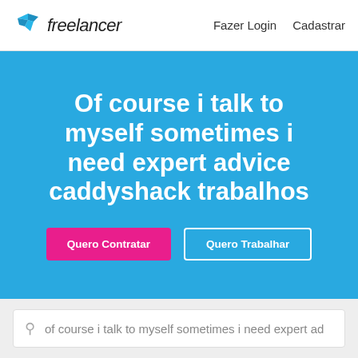freelancer   Fazer Login   Cadastrar
Of course i talk to myself sometimes i need expert advice caddyshack trabalhos
Quero Contratar
Quero Trabalhar
of course i talk to myself sometimes i need expert ad